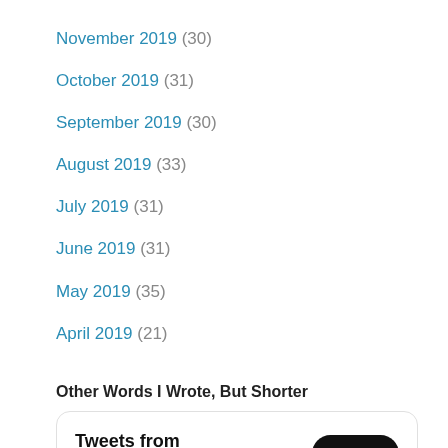November 2019 (30)
October 2019 (31)
September 2019 (30)
August 2019 (33)
July 2019 (31)
June 2019 (31)
May 2019 (35)
April 2019 (21)
Other Words I Wrote, But Shorter
[Figure (screenshot): Twitter widget showing 'Tweets from @JohnnyRoccia' with a Follow button and partial avatar visible at bottom]